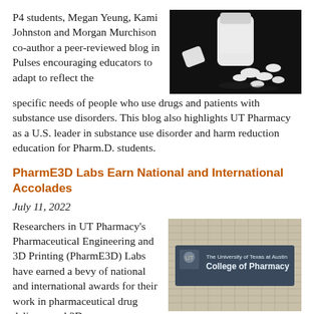P4 students, Megan Yeung, Kami Johnston and Morgan Murchison co-author a peer-reviewed blog in Pulses encouraging educators to adapt to reflect the specific needs of people who use drugs and patients with substance use disorders. This blog also highlights UT Pharmacy as a U.S. leader in substance use disorder and harm reduction education for Pharm.D. students.
[Figure (photo): White prescription pill bottle tipped over with white pills and small medicine containers spilled out, on a dark black background]
PharmE3D Labs Earn National and International Accolades
July 11, 2022
Researchers in UT Pharmacy's Pharmaceutical Engineering and 3D Printing (PharmE3D) Labs have earned a bevy of national and international awards for their work in pharmaceutical drug delivery and 3D printing personalized medicines.
[Figure (photo): Sign on a building reading: The University of Texas at Austin College of Pharmacy, with the UT longhorn logo]